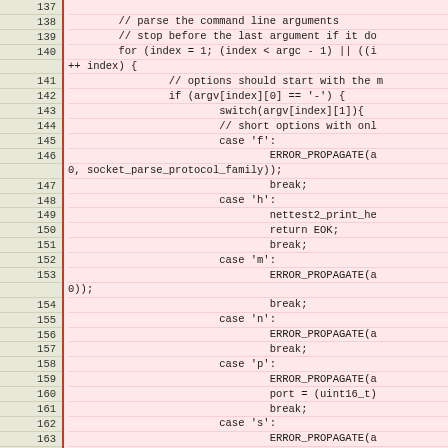[Figure (screenshot): Source code viewer showing lines 137-166 of C code with line numbers on the left in a beige/tan column and code content on the right in a pink/salmon background. The code shows command-line argument parsing logic with switch/case statements for options 'f', 'h', 'm', 'n', 'p', 's', and 't'.]